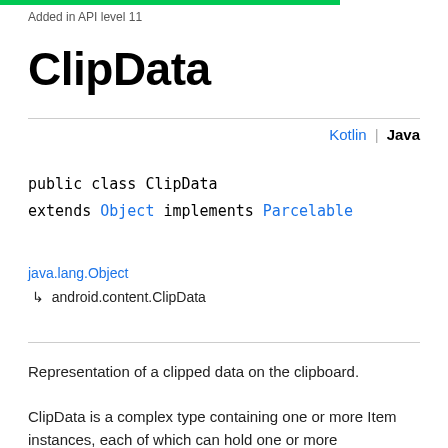Added in API level 11
ClipData
Kotlin | Java
public class ClipData
extends Object implements Parcelable
java.lang.Object
↳  android.content.ClipData
Representation of a clipped data on the clipboard.
ClipData is a complex type containing one or more Item instances, each of which can hold one or more